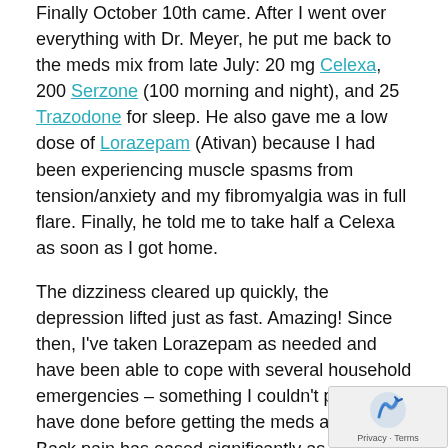Finally October 10th came. After I went over everything with Dr. Meyer, he put me back to the meds mix from late July: 20 mg Celexa, 200 Serzone (100 morning and night), and 25 Trazodone for sleep. He also gave me a low dose of Lorazepam (Ativan) because I had been experiencing muscle spasms from tension/anxiety and my fibromyalgia was in full flare. Finally, he told me to take half a Celexa as soon as I got home.
The dizziness cleared up quickly, the depression lifted just as fast. Amazing! Since then, I've taken Lorazepam as needed and have been able to cope with several household emergencies – something I couldn't possibly have done before getting the meds adjusted. Back pain has eased significantly as well.
And the moral of the story is ...
DON'T MESS WITH YOUR MEDS. If things are not the way you think they should, call your doctor immediately! I put myself through three, and a half...